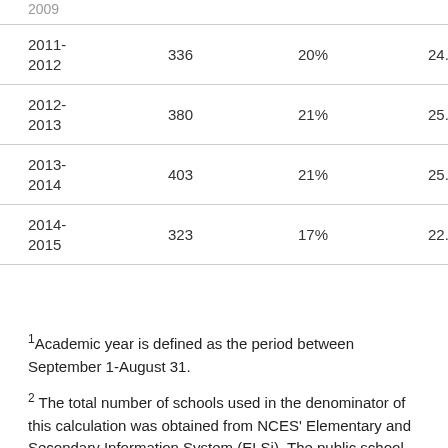| Year | Count | Percent | Value |
| --- | --- | --- | --- |
| 2011-
2012 | 336 | 20% | 24.1 |
| 2012-
2013 | 380 | 21% | 25.8 |
| 2013-
2014 | 403 | 21% | 25.0 |
| 2014-
2015 | 323 | 17% | 22.4 |
1Academic year is defined as the period between September 1-August 31.
2 The total number of schools used in the denominator of this calculation was obtained from NCES' Elementary and Secondary Information System (ELSi). The public school information is available from the Common Core of Data through 2013-14. The